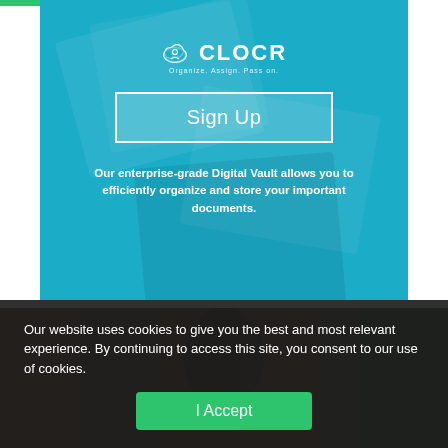[Figure (screenshot): CLOCR website hero section with teal/cyan background, partially transparent overlay on a document/desk background. Contains the CLOCR logo with cloud icon, a 'Sign Up' button with white border, and promotional text.]
Sign Up
Our enterprise-grade Digital Vault allows you to efficiently organize and store your important documents.
[Figure (photo): Dark photograph of a person, wooden/library background, partially visible. Used as background for the lower section of the page.]
Our website uses cookies to give you the best and most relevant experience. By continuing to access this site, you consent to our use of cookies.
I Accept